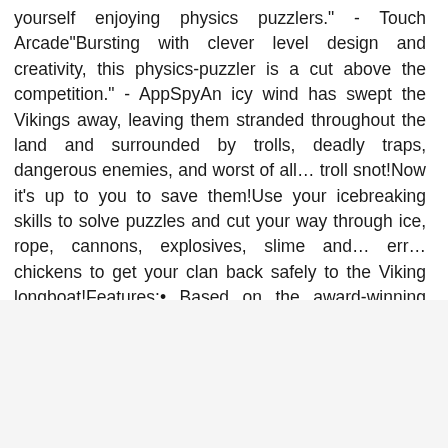yourself enjoying physics puzzlers." - Touch Arcade"Bursting with clever level design and creativity, this physics-puzzler is a cut above the competition." - AppSpyAn icy wind has swept the Vikings away, leaving them stranded throughout the land and surrounded by trolls, deadly traps, dangerous enemies, and worst of all… troll snot!Now it's up to you to save them!Use your icebreaking skills to solve puzzles and cut your way through ice, rope, cannons, explosives, slime and… err… chickens to get your clan back safely to the Viking longboat!Features:• Based on the award-winning flash game by Nitrome, now expanded, updated, and optimized for mobile!• 140 action-packed levels in three different lan  ×